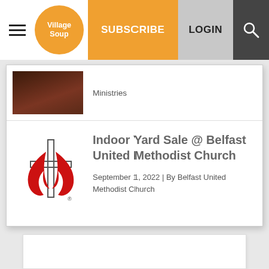Village Soup | SUBSCRIBE | LOGIN
Ministries
Indoor Yard Sale @ Belfast United Methodist Church
September 1, 2022 | By Belfast United Methodist Church
[Figure (logo): United Methodist Church cross and flame logo]